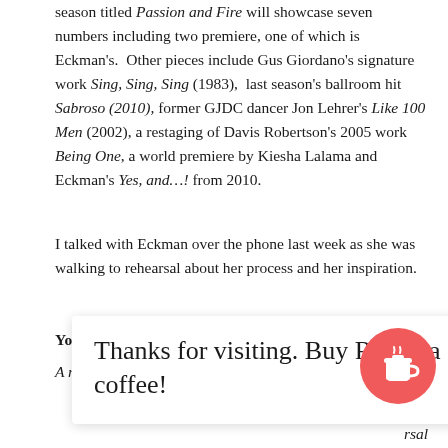season titled Passion and Fire will showcase seven numbers including two premiere, one of which is Eckman's.  Other pieces include Gus Giordano's signature work Sing, Sing, Sing (1983),  last season's ballroom hit Sabroso (2010), former GJDC dancer Jon Lehrer's Like 100 Men (2002), a restaging of Davis Robertson's 2005 work Being One, a world premiere by Kiesha Lalama and Eckman's Yes, and…! from 2010.
I talked with Eckman over the phone last week as she was walking to rehearsal about her process and her inspiration.
You're a busy lady.  What is a typical day for you?
A regular Giordano day?  They start class at 9:30 and we
[Figure (other): Popup overlay with text 'Thanks for visiting. Buy Rogue a coffee!' and a red circular coffee cup button icon on the right side.]